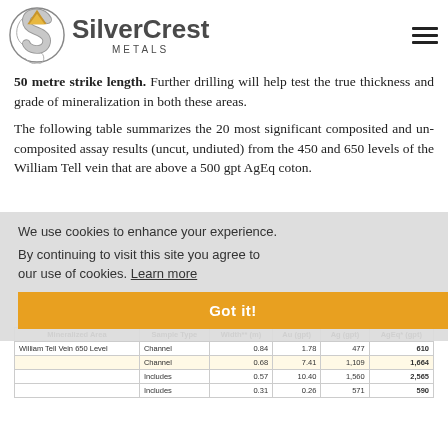[Figure (logo): SilverCrest Metals logo with golden/silver shield emblem and company name]
50 metre strike length. Further drilling will help test the true thickness and grade of mineralization in both these areas.
The following table summarizes the 20 most significant composited and un-composited assay results (uncut, undiuted) from the 450 and 650 levels of the William Tell vein that are above a 500 gpt AgEq coton.
We use cookies to enhance your experience.
By continuing to visit this site you agree to our use of cookies. Learn more
| Mineralized Area | Sample Type | Width** (m) | Au (gpt) | Ag (gpt) | AgEq* (gpt) |
| --- | --- | --- | --- | --- | --- |
| William Tell Vein 650 Level | Channel | 0.84 | 1.78 | 477 | 610 |
|  | Channel | 0.68 | 7.41 | 1,109 | 1,664 |
|  | Includes | 0.57 | 10.40 | 1,560 | 2,565 |
|  | Includes | 0.31 | 0.26 | 571 | 590 |